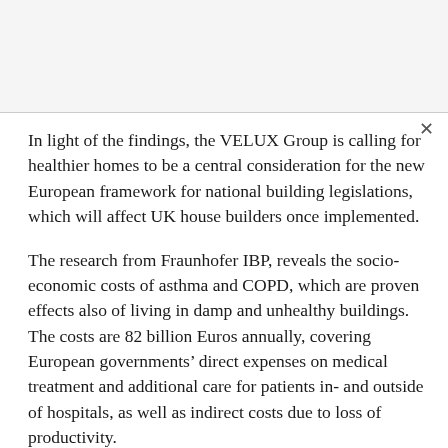In light of the findings, the VELUX Group is calling for healthier homes to be a central consideration for the new European framework for national building legislations, which will affect UK house builders once implemented.
The research from Fraunhofer IBP, reveals the socio-economic costs of asthma and COPD, which are proven effects also of living in damp and unhealthy buildings. The costs are 82 billion Euros annually, covering European governments' direct expenses on medical treatment and additional care for patients in- and outside of hospitals, as well as indirect costs due to loss of productivity.
The study also reveals that close to 84 million Europeans